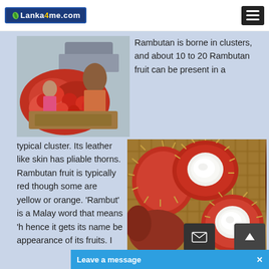Lanka4me.com
[Figure (photo): A vendor selling rambutan fruit at a market stall, with clusters of red rambutan visible.]
Rambutan is borne in clusters, and about 10 to 20 Rambutan fruit can be present in a typical cluster. Its leather like skin has pliable thorns. Rambutan fruit is typically red though some are yellow or orange. 'Rambut' is a Malay word that means ... hence it gets its name be... appearance of its fruits.
[Figure (photo): Close-up of rambutan fruits, some split open showing the white translucent flesh inside, with spiky red-brown outer skin visible.]